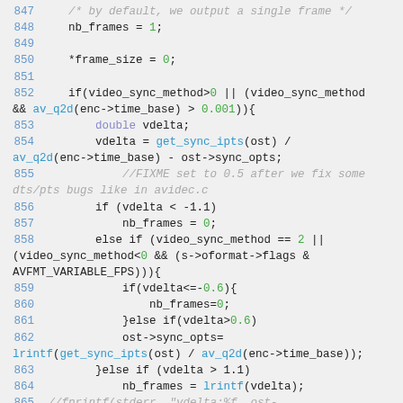Code listing lines 847-865, C source code for video frame synchronization logic